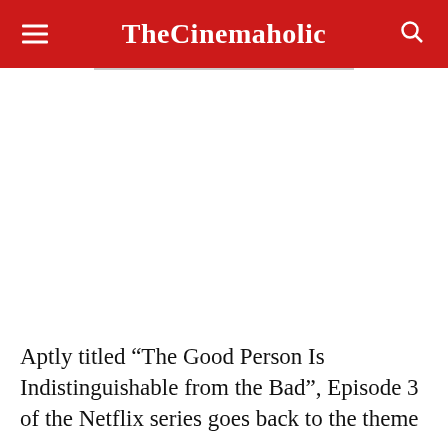TheCinemaholic
Aptly titled “The Good Person Is Indistinguishable from the Bad”, Episode 3 of the Netflix series goes back to the theme